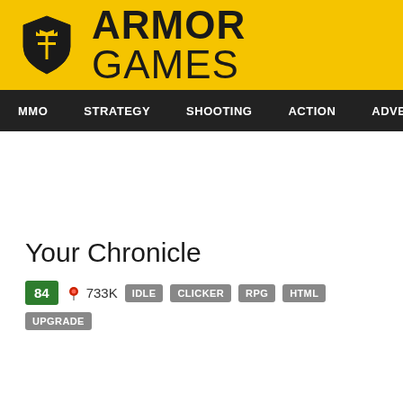ARMOR GAMES
MMO  STRATEGY  SHOOTING  ACTION  ADVENTURE  P
Your Chronicle
84  733K  IDLE  CLICKER  RPG  HTML  UPGRADE